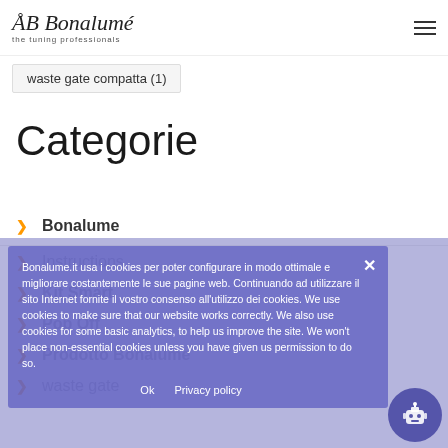AB Bonalume the tuning professionals
waste gate compatta (1)
Categorie
Bonalume
Instructions
Kit Smart
Pop Off
Prodotto Bonalume
waste gate
Bonalume.it usa i cookies per poter configurare in modo ottimale e migliorare costantemente le sue pagine web. Continuando ad utilizzare il sito Internet fornite il vostro consenso all'utilizzo dei cookies. We use cookies to make sure that our website works correctly. We also use cookies for some basic analytics, to help us improve the site. We won't place non-essential cookies unless you have given us permission to do so.